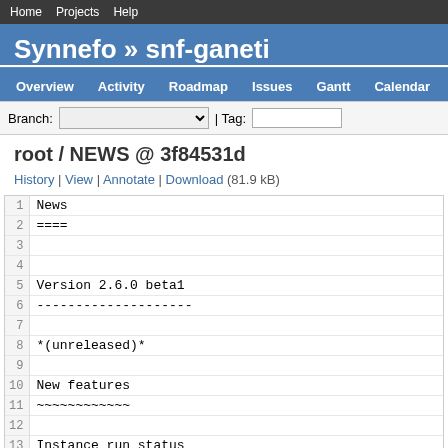Home  Projects  Help
Synnefo » snf-ganeti
Overview  Activity  Roadmap  Issues  Gantt  Calendar  File
Branch: [dropdown] | Tag: [input]
root / NEWS @ 3f84531d
History | View | Annotate | Download (81.9 kB)
| line | code |
| --- | --- |
| 1 | News |
| 2 | ==== |
| 3 |  |
| 4 |  |
| 5 | Version 2.6.0 beta1 |
| 6 | -------------------- |
| 7 |  |
| 8 | *(unreleased)* |
| 9 |  |
| 10 | New features |
| 11 | ~~~~~~~~~~~~ |
| 12 |  |
| 13 | Instance run status |
| 14 | +++++++++++++++++++ |
| 15 |  |
| 16 | The current ``admin_up`` field, which used to denote w |